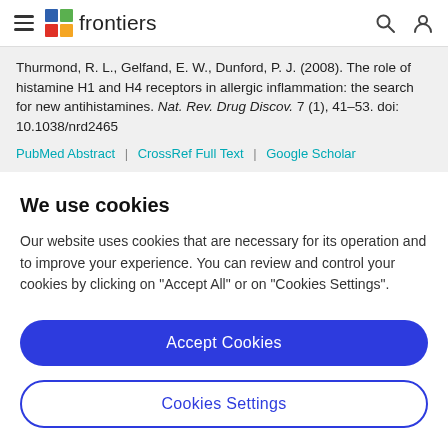frontiers (navigation bar with hamburger menu, logo, search and user icons)
Hammond, R. L., Gelfand, E. W., Dunford, P. J. (2008). The role of histamine H1 and H4 receptors in allergic inflammation: the search for new antihistamines. Nat. Rev. Drug Discov. 7 (1), 41–53. doi: 10.1038/nrd2465
PubMed Abstract | CrossRef Full Text | Google Scholar
We use cookies
Our website uses cookies that are necessary for its operation and to improve your experience. You can review and control your cookies by clicking on "Accept All" or on "Cookies Settings".
Accept Cookies
Cookies Settings